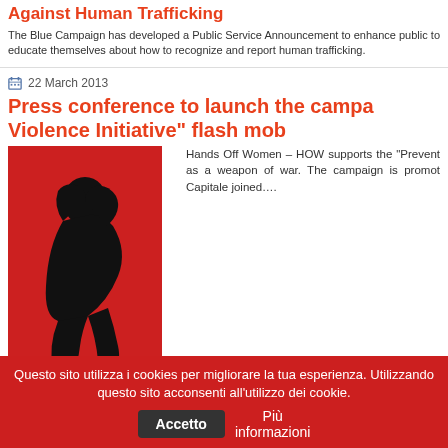Against Human Trafficking
The Blue Campaign has developed a Public Service Announcement to enhance public to educate themselves about how to recognize and report human trafficking.
22 March 2013
Press conference to launch the campa... Violence Initiative" flash mob
[Figure (illustration): Red poster with black silhouette of a crouching person, text reading AGAINST SEXUAL VIOLENCE IN CONFLICT, caption @Campidoglio, Roma]
Hands Off Women – HOW supports the "Prevent... as a weapon of war. The campaign is promot... Capitale joined....
Questo sito utilizza i cookies per migliorare la tua esperienza. Utilizzando questo sito acconsenti all'utilizzo dei cookie. Accetto Più informazioni